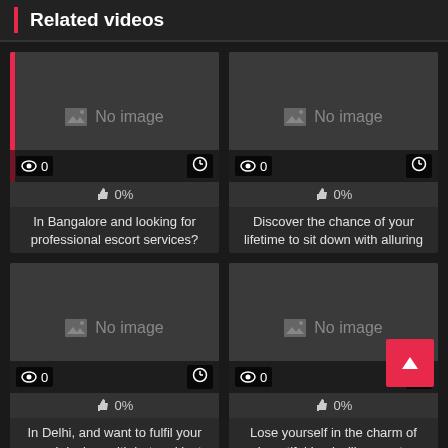Related videos
[Figure (screenshot): Video thumbnail placeholder with 'No image', 0 views, 0% likes]
In Bangalore and looking for professional escort services?
[Figure (screenshot): Video thumbnail placeholder with 'No image', 0 views, 0% likes]
Discover the chance of your lifetime to sit down with alluring
[Figure (screenshot): Video thumbnail placeholder with 'No image', 0 views, 0% likes]
In Delhi, and want to fulfil your sexual desires with hot and lusty
[Figure (screenshot): Video thumbnail placeholder with 'No image', 0 views, 0% likes]
Lose yourself in the charm of beautiful Louisville escorts